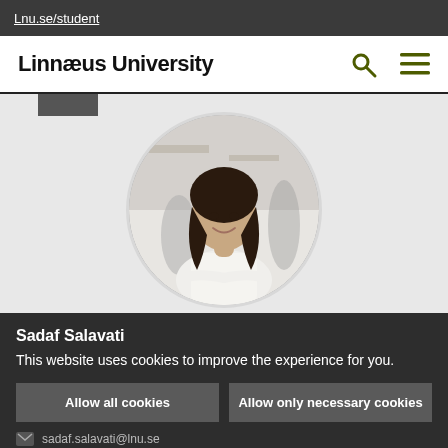Lnu.se/student
Linnæus University
[Figure (photo): Circular profile photo of Sadaf Salavati, a smiling woman with dark hair wearing a white top, arms crossed, in a blurred indoor setting.]
Sadaf Salavati
This website uses cookies to improve the experience for you.
Allow all cookies
Allow only necessary cookies
sadaf.salavati@lnu.se
Read more about cookies